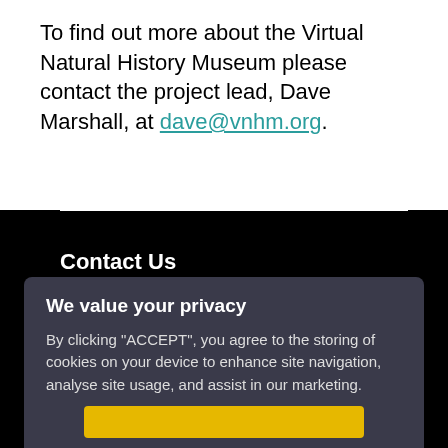To find out more about the Virtual Natural History Museum please contact the project lead, Dave Marshall, at dave@vnhm.org.
Contact Us
University of the West of England
Frenchay Campus
Coldharbour Lane
Bristol
We value your privacy
By clicking "ACCEPT", you agree to the storing of cookies on your device to enhance site navigation, analyse site usage, and assist in our marketing.